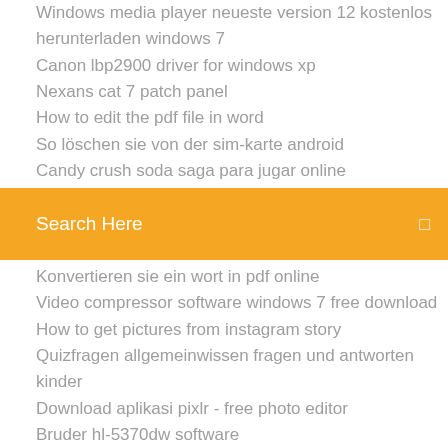Windows media player neueste version 12 kostenlos herunterladen windows 7
Canon lbp2900 driver for windows xp
Nexans cat 7 patch panel
How to edit the pdf file in word
So löschen sie von der sim-karte android
Candy crush soda saga para jugar online
Search Here
Konvertieren sie ein wort in pdf online
Video compressor software windows 7 free download
How to get pictures from instagram story
Quizfragen allgemeinwissen fragen und antworten kinder
Download aplikasi pixlr - free photo editor
Bruder hl-5370dw software
Star wars knights of the old republic controller support
Assinar um pdf digitalmente
Upgrade free vista to windows 10
Basetech br116 usb 2.0 video grabber software download